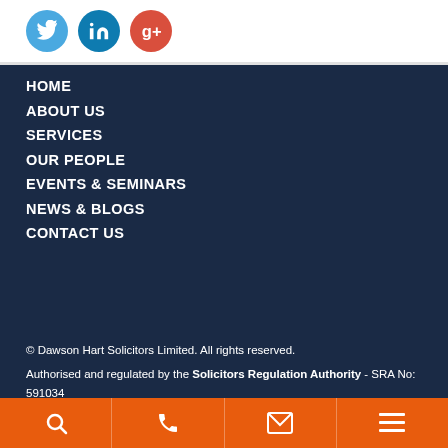[Figure (other): Social media icons: Twitter (blue circle), LinkedIn (dark blue circle), Google+ (red circle)]
HOME
ABOUT US
SERVICES
OUR PEOPLE
EVENTS & SEMINARS
NEWS & BLOGS
CONTACT US
© Dawson Hart Solicitors Limited. All rights reserved.
Authorised and regulated by the Solicitors Regulation Authority - SRA No: 591034
Accessibility | Complaints Procedure | Legal Disclaimer | Privacy Policy | Cookie Policy | Sitemap
Search | Phone | Email | Menu